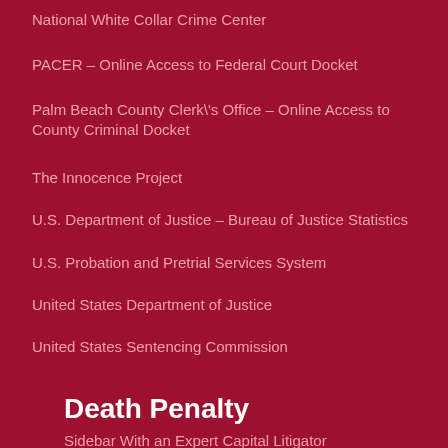National White Collar Crime Center
PACER – Online Access to Federal Court Docket
Palm Beach County Clerk's Office – Online Access to County Criminal Docket
The Innocence Project
U.S. Department of Justice – Bureau of Justice Statistics
U.S. Probation and Pretrial Services System
United States Department of Justice
United States Sentencing Commission
Death Penalty
Sidebar With an Expert Capital Litigator